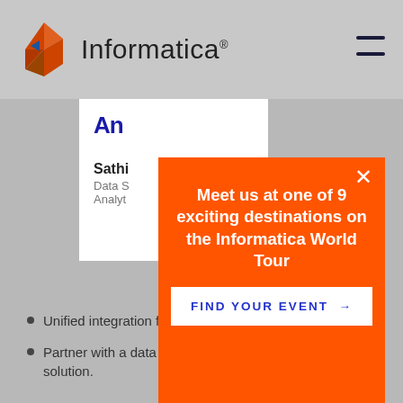Informatica
An
Sathi
Data S
Analyt
[Figure (screenshot): Orange modal popup on Informatica website with text: Meet us at one of 9 exciting destinations on the Informatica World Tour, and a FIND YOUR EVENT → button]
Unified integration for new insights.
Partner with a data integration leader, delivering an OEM solution.